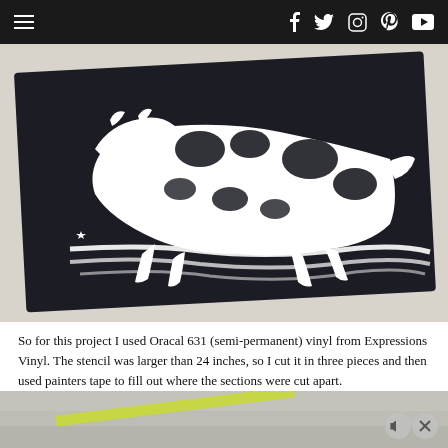Navigation header with hamburger menu and social icons: Facebook, Twitter, Instagram, Pinterest, YouTube
[Figure (photo): Black and white vinyl stencil of the California Republic bear, cut from Oracal 631 semi-permanent vinyl, laid flat on a light surface showing the bear silhouette with textured detail.]
So for this project I used Oracal 631 (semi-permanent) vinyl from Expressions Vinyl. The stencil was larger than 24 inches, so I cut it in three pieces and then used painters tape to fill out where the sections were cut apart.
[Figure (photo): Partial view of a surface with a yellow-green tape or stripe visible, appearing to be the next step in the project tutorial.]